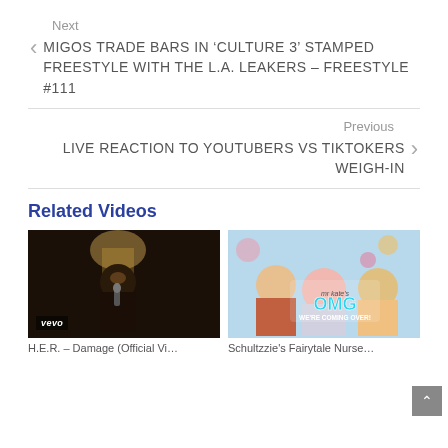Next
MIGOS TRADE BARS IN ‘CULTURE 3’ STAMPED FREESTYLE WITH THE L.A. LEAKERS – FREESTYLE #111
Previous
LIVE REACTION TO YOUTUBERS VS TIKTOKERS WEIGH-IN
Related Videos
[Figure (photo): Video thumbnail of H.E.R. performing, dark indoor setting with warm lamp light, woman singing into microphone, vevo badge in lower left]
[Figure (photo): Video thumbnail of OMG We're Coming Over show with Mr. Kate, group of people smiling, colorful background]
H.E.R. – Damage (Official Vi…
Schultzzie's Fairytale Nurse…